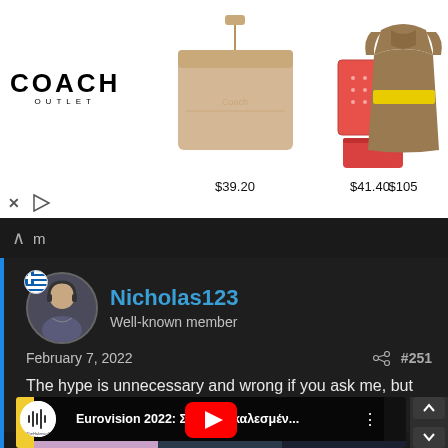[Figure (screenshot): Coach Outlet advertisement banner showing logo and three products with prices: a beige wallet at $39.20, red notebooks at $41.40, and a brown/yellow dress at $105]
Nicholas123
Well-known member
February 7, 2022
#251
The hype is unnecessary and wrong if you ask me, but with efun we can't really avoid it. 😄
[Figure (screenshot): YouTube video embed thumbnail for 'Eurovision 2022: Σύντομα καλεσμέν...' by TheHakman8 Videos, showing three people in the thumbnail]